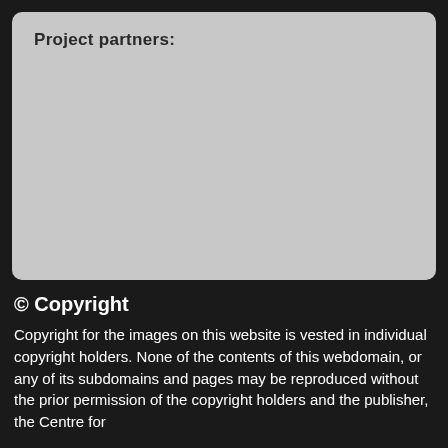Project partners:
[Figure (other): Gray placeholder box for project partners logos/content]
© Copyright
Copyright for the images on this website is vested in individual copyright holders. None of the contents of this webdomain, or any of its subdomains and pages may be reproduced without the prior permission of the copyright holders and the publisher, the Centre for